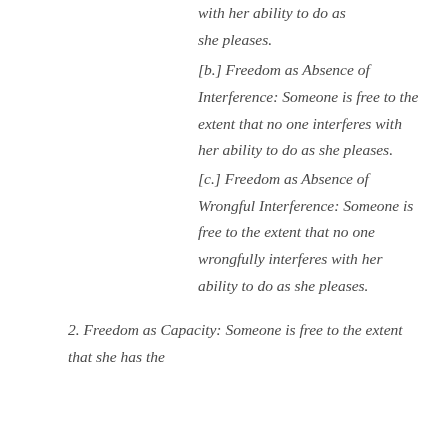with her ability to do as she pleases.
[b.] Freedom as Absence of Interference: Someone is free to the extent that no one interferes with her ability to do as she pleases.
[c.] Freedom as Absence of Wrongful Interference: Someone is free to the extent that no one wrongfully interferes with her ability to do as she pleases.
2. Freedom as Capacity: Someone is free to the extent that she has the